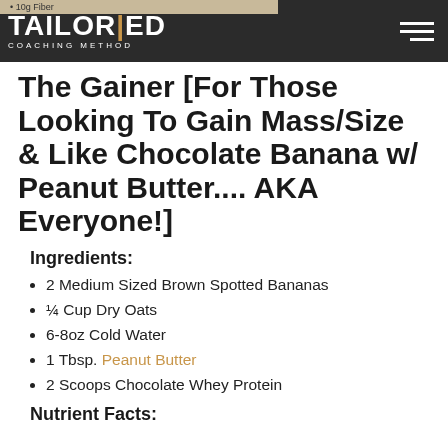10g Fiber | [protein] — TAILORED COACHING METHOD
The Gainer [For Those Looking To Gain Mass/Size & Like Chocolate Banana w/ Peanut Butter.... AKA Everyone!]
Ingredients:
2 Medium Sized Brown Spotted Bananas
¼ Cup Dry Oats
6-8oz Cold Water
1 Tbsp. Peanut Butter
2 Scoops Chocolate Whey Protein
Nutrient Facts: